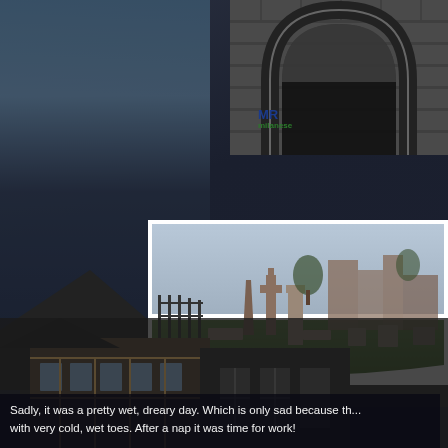[Figure (photo): Left side: dark moody photo of a church or building with steep triangular roof and dark stormy sky]
[Figure (photo): Top right: black and white photo of a gothic stone arch/window structure]
[Figure (photo): Center: panoramic photo of a cemetery with stone monuments and ruins in the background on a cloudy day]
Just another panoram
[Figure (photo): Bottom: photo of a half-timbered German building facade]
Sadly, it was a pretty wet, dreary day. Which is only sad because th... with very cold, wet toes. After a nap it was time for work!